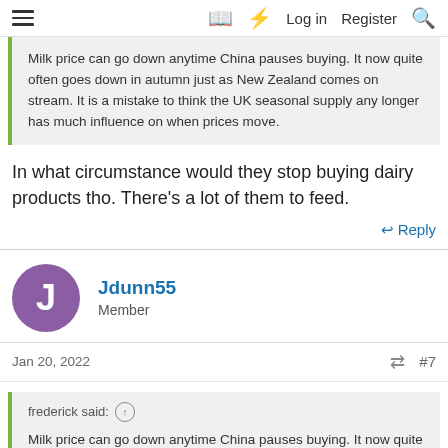≡  📖  ⚡  Log in  Register  🔍
Milk price can go down anytime China pauses buying. It now quite often goes down in autumn just as New Zealand comes on stream. It is a mistake to think the UK seasonal supply any longer has much influence on when prices move.
In what circumstance would they stop buying dairy products tho. There's a lot of them to feed.
↩ Reply
Jdunn55
Member
Jan 20, 2022   #7
frederick said: ↑
Milk price can go down anytime China pauses buying. It now quite often goes down in autumn just as New Zealand comes on stream.